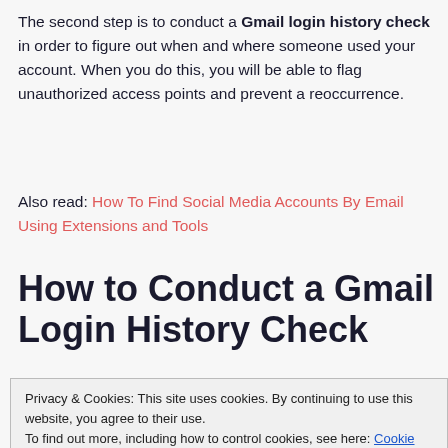The second step is to conduct a Gmail login history check in order to figure out when and where someone used your account. When you do this, you will be able to flag unauthorized access points and prevent a reoccurrence.
Also read: How To Find Social Media Accounts By Email Using Extensions and Tools
How to Conduct a Gmail Login History Check
Privacy & Cookies: This site uses cookies. By continuing to use this website, you agree to their use.
To find out more, including how to control cookies, see here: Cookie Policy
Close and accept
“Details” as shown in the image below